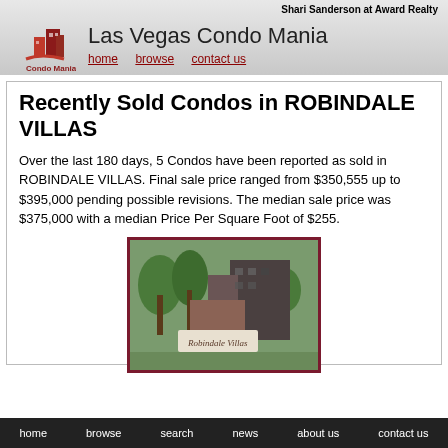Shari Sanderson at Award Realty
[Figure (logo): Condo Mania logo with red building icon and red swoosh, text 'Condo Mania' below]
Las Vegas Condo Mania
home   browse   contact us
Recently Sold Condos in ROBINDALE VILLAS
Over the last 180 days, 5 Condos have been reported as sold in ROBINDALE VILLAS. Final sale price ranged from $350,555 up to $395,000 pending possible revisions. The median sale price was $375,000 with a median Price Per Square Foot of $255.
[Figure (photo): Photo of Robindale Villas exterior with palm trees, brick building, and sign reading 'Robindale Villas']
home   browse   search   news   about us   contact us